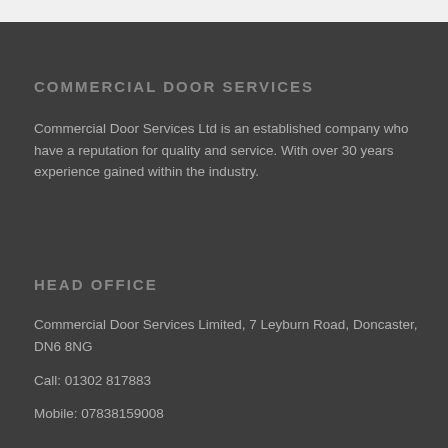COMMERCIAL DOOR SERVICES
Commercial Door Services Ltd is an established company who have a reputation for quality and service. With over 30 years experience gained within the industry.
HEAD OFFICE
Commercial Door Services Limited, 7 Leyburn Road, Doncaster, DN6 8NG
Call: 01302 817883
Mobile: 07838159008